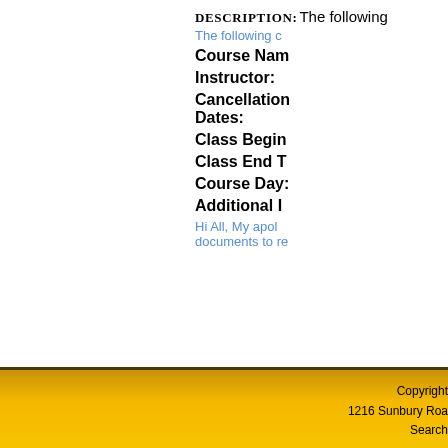Description: The following
The following c
Course Nam
Instructor:
Cancellation Dates:
Class Begin
Class End T
Course Day:
Additional I
Hi All, My apol documents to re
Copyright 1216 Sunbury Roa Search